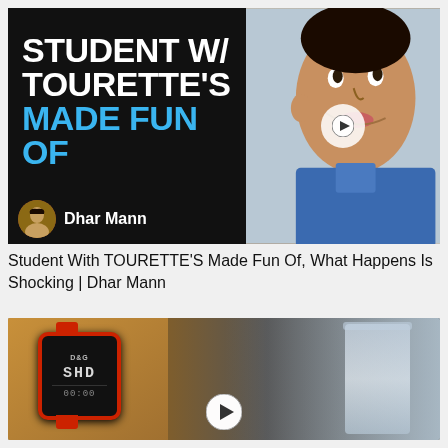[Figure (screenshot): YouTube video thumbnail for 'Student With TOURETTE'S Made Fun Of' by Dhar Mann. Left half shows black background with white bold text 'STUDENT W/ TOURETTE'S' and blue bold text 'MADE FUN OF', with Dhar Mann avatar and name at bottom. Right half shows a young person's face looking upward with an emotional expression. A circular play button overlay is centered.]
Student With TOURETTE'S Made Fun Of, What Happens Is Shocking | Dhar Mann
[Figure (screenshot): YouTube video thumbnail showing a hand holding a digital wristwatch with a red bezel displaying 'SHD' on screen, next to a glass of water in the background. A circular play button overlay is visible at the bottom center.]